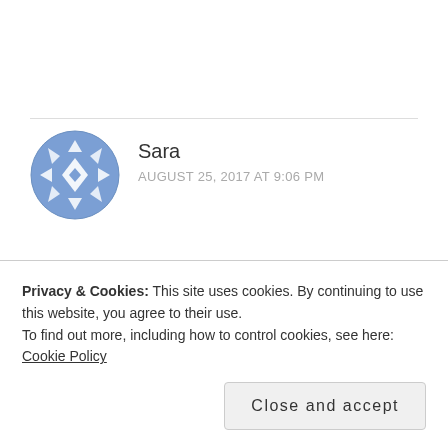[Figure (illustration): Circular avatar with blue geometric snowflake/kaleidoscope pattern for user Sara]
Sara
AUGUST 25, 2017 AT 9:06 PM
1000's is what I meant up there… Many of them…
Like
Privacy & Cookies: This site uses cookies. By continuing to use this website, you agree to their use. To find out more, including how to control cookies, see here: Cookie Policy
Close and accept
don't see the guy they support or the supporters who